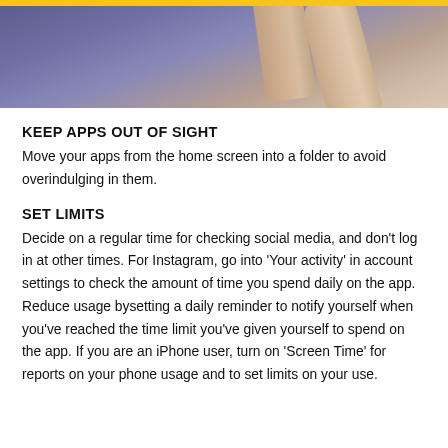[Figure (photo): Close-up photo of a hand with fingers, partially visible, against a purple-blue blurred background.]
KEEP APPS OUT OF SIGHT
Move your apps from the home screen into a folder to avoid overindulging in them.
SET LIMITS
Decide on a regular time for checking social media, and don't log in at other times. For Instagram, go into 'Your activity' in account settings to check the amount of time you spend daily on the app. Reduce usage bysetting a daily reminder to notify yourself when you've reached the time limit you've given yourself to spend on the app. If you are an iPhone user, turn on 'Screen Time' for reports on your phone usage and to set limits on your use.